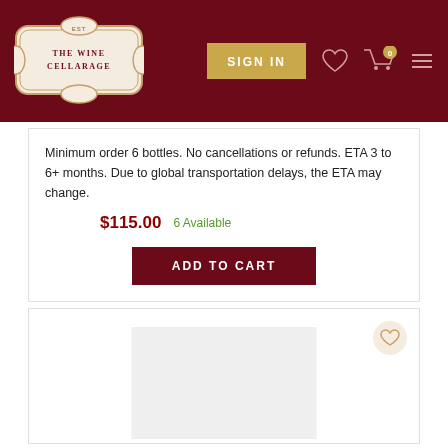[Figure (logo): The Wine Cellarage logo on dark red header background with Sign In button, heart icon, cart icon, and menu icon]
Minimum order 6 bottles. No cancellations or refunds. ETA 3 to 6+ months. Due to global transportation delays, the ETA may change.
$115.00   6 Available
ADD TO CART
[Figure (photo): Wine bottle product image placeholder (light gray rectangle) with a wishlist heart icon in the top right corner]